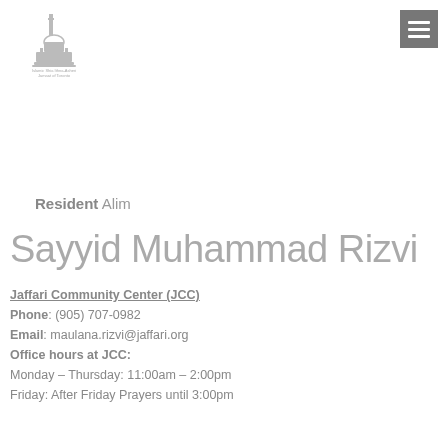[Figure (logo): Islamic Shia Ithna-Asheri Jamaat of Toronto mosque logo with minaret and dome]
[Figure (other): Dark grey menu/hamburger button icon in top right corner]
Resident Alim
Sayyid Muhammad Rizvi
Jaffari Community Center (JCC)
Phone: (905) 707-0982
Email: maulana.rizvi@jaffari.org
Office hours at JCC:
Monday – Thursday: 11:00am – 2:00pm
Friday: After Friday Prayers until 3:00pm